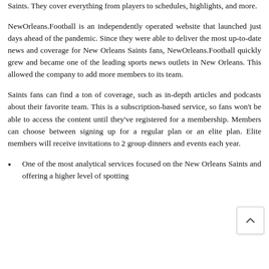Saints. They cover everything from players to schedules, highlights, and more.
NewOrleans.Football is an independently operated website that launched just days ahead of the pandemic. Since they were able to deliver the most up-to-date news and coverage for New Orleans Saints fans, NewOrleans.Football quickly grew and became one of the leading sports news outlets in New Orleans. This allowed the company to add more members to its team.
Saints fans can find a ton of coverage, such as in-depth articles and podcasts about their favorite team. This is a subscription-based service, so fans won't be able to access the content until they've registered for a membership. Members can choose between signing up for a regular plan or an elite plan. Elite members will receive invitations to 2 group dinners and events each year.
One of the most analytical services focused on the New Orleans Saints and offering a higher level of spotting